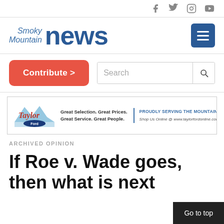Smoky Mountain News — social icons: Facebook, Twitter, Instagram, YouTube
[Figure (logo): Smoky Mountain News logo with hamburger menu button]
[Figure (other): Contribute button and Search bar]
[Figure (other): Taylor Ford advertisement banner: Great Selection. Great Prices. Great Service. Great People. PROUDLY SERVING THE MOUNTAINS FOR OVER 60 YEARS. Shop Us Online @ www.taylorfordonline.com]
ARCHIVED OPINION
If Roe v. Wade goes, then what is next